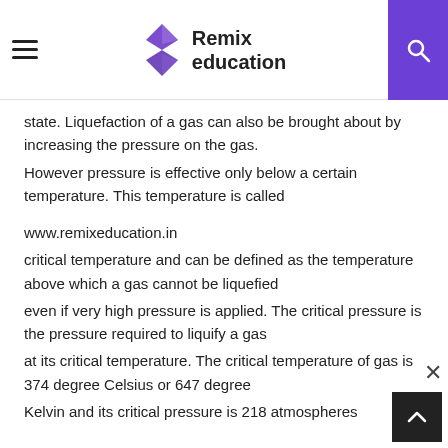Remix education
state. Liquefaction of a gas can also be brought about by increasing the pressure on the gas. However pressure is effective only below a certain temperature. This temperature is called
www.remixeducation.in
critical temperature and can be defined as the temperature above which a gas cannot be liquefied even if very high pressure is applied. The critical pressure is the pressure required to liquify a gas at its critical temperature. The critical temperature of gas is 374 degree Celsius or 647 degree Kelvin and its critical pressure is 218 atmospheres